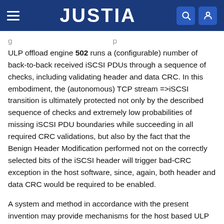JUSTIA
ULP offload engine 502 runs a (configurable) number of back-to-back received iSCSI PDUs through a sequence of checks, including validating header and data CRC. In this embodiment, the (autonomous) TCP stream =>iSCSI transition is ultimately protected not only by the described sequence of checks and extremely low probabilities of missing iSCSI PDU boundaries while succeeding in all required CRC validations, but also by the fact that the Benign Header Modification performed not on the correctly selected bits of the iSCSI header will trigger bad-CRC exception in the host software, since, again, both header and data CRC would be required to be enabled.
A system and method in accordance with the present invention may provide mechanisms for the host based ULP software to confirm the position of ULP header in